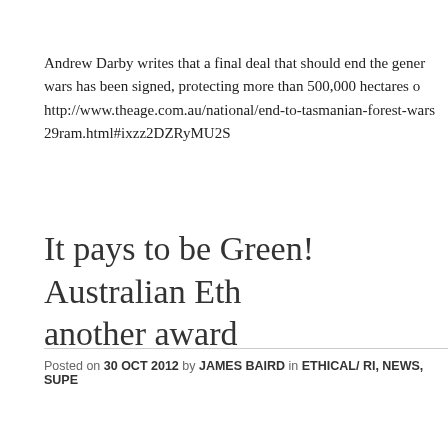Andrew Darby writes that a final deal that should end the gener wars has been signed, protecting more than 500,000 hectares o http://www.theage.com.au/national/end-to-tasmanian-forest-wars 29ram.html#ixzz2DZRyMU2S
It pays to be Green! Australian Eth another award
Posted on 30 OCT 2012 by JAMES BAIRD in ETHICAL/ RI, NEWS, SUPE